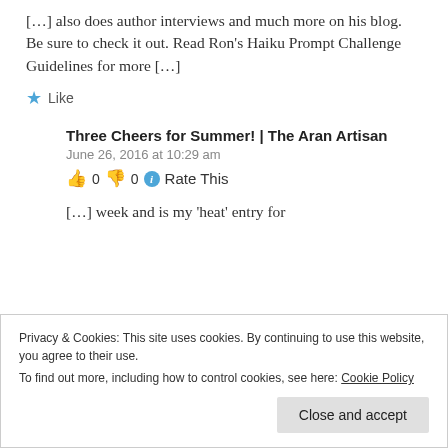[…] also does author interviews and much more on his blog. Be sure to check it out. Read Ron's Haiku Prompt Challenge Guidelines for more […]
★ Like
Three Cheers for Summer! | The Aran Artisan
June 26, 2016 at 10:29 am
👍 0 👎 0 ℹ Rate This
[…] week and is my 'heat' entry for
Privacy & Cookies: This site uses cookies. By continuing to use this website, you agree to their use. To find out more, including how to control cookies, see here: Cookie Policy
Close and accept